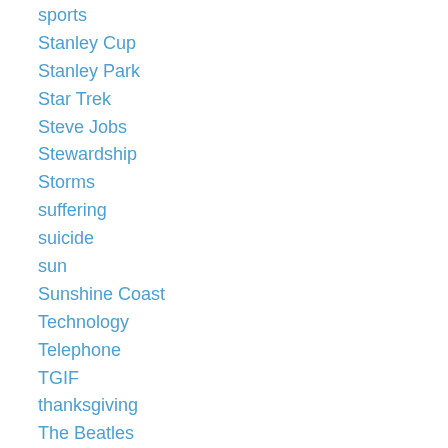sports
Stanley Cup
Stanley Park
Star Trek
Steve Jobs
Stewardship
Storms
suffering
suicide
sun
Sunshine Coast
Technology
Telephone
TGIF
thanksgiving
The Beatles
The Dark Knight
The River Runs Through It
The Word Guild
The Word Guild Awards